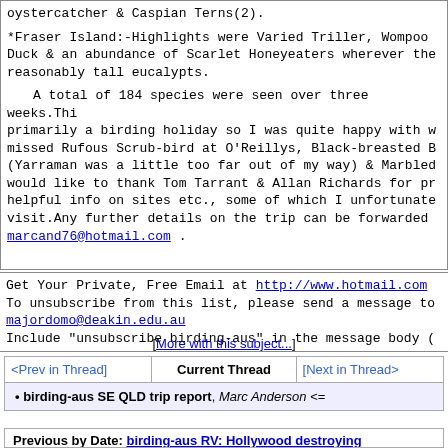oystercatcher & Caspian Terns(2).

*Fraser Island:-Highlights were Varied Triller, Wompoo Duck & an abundance of Scarlet Honeyeaters wherever the reasonably tall eucalypts.

  A total of 184 species were seen over three weeks.Thi primarily a birding holiday so I was quite happy with w missed Rufous Scrub-bird at O'Reillys, Black-breasted B (Yarraman was a little too far out of my way) & Marbled would like to thank Tom Tarrant & Allan Richards for pr helpful info on sites etc., some of which I unfortunate visit.Any further details on the trip can be forwarded marcand76@hotmail.com .
Get Your Private, Free Email at http://www.hotmail.com
To unsubscribe from this list, please send a message to majordomo@deakin.edu.au
Include "unsubscribe birding-aus" in the message body (
[More with this subject...]
| <Prev in Thread> | Current Thread | [Next in Thread> |
| --- | --- | --- |
| birding-aus SE QLD trip report, Marc Anderson <= |
Previous by Date: birding-aus RV: Hollywood destroying